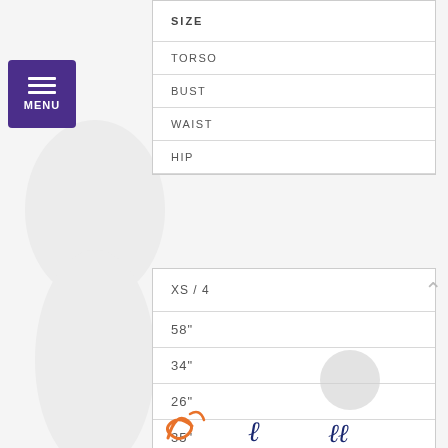[Figure (other): Purple MENU hamburger button with three horizontal lines icon]
| SIZE |
| --- |
| TORSO |
| BUST |
| WAIST |
| HIP |
| XS / 4 |
| --- |
| 58" |
| 34" |
| 26" |
| 35" |
[Figure (logo): Brand logos at bottom of page — cursive script logos in navy blue and orange]